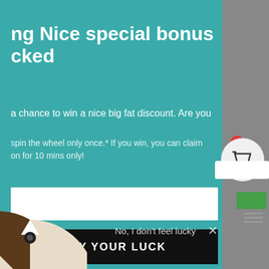[Figure (screenshot): A promotional popup/modal on a teal/teal-green background showing a 'spinning wheel' discount offer. Contains truncated title text 'ng Nice special bonus cked', body copy about winning a discount, an email input field, a black 'TRY YOUR LUCK' button, a dismiss link 'No, I don't feel lucky' with an X close button, and a partial spinning wheel graphic at the bottom-left. The right side shows a gray background with a shopping cart widget with a red badge showing 0, a search bar, a green button, and a hamburger-style lines icon.]